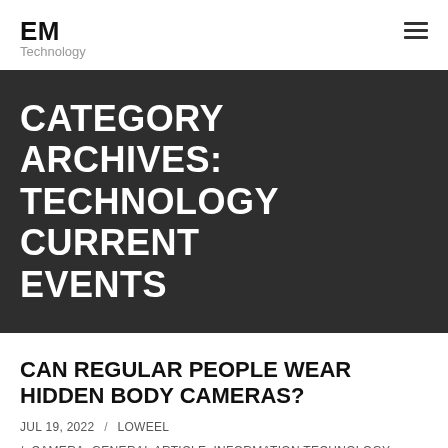EM Technology
CATEGORY ARCHIVES: TECHNOLOGY CURRENT EVENTS
CAN REGULAR PEOPLE WEAR HIDDEN BODY CAMERAS?
JUL 19, 2022 / LOWEEL
/ CAMERA, GENERAL ARTICLE, INFORMATION TECHNOLOGY, MODERN TECHNOLOGY, SATELITE, SCI TECH, SCIENCE DAILY, TECHNOLOGY CURRENT EVENTS